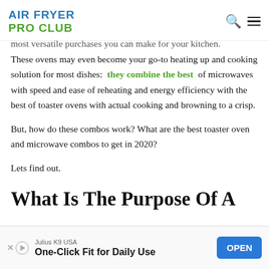AIR FRYER PRO CLUB
most versatile purchases you can make for your kitchen. These ovens may even become your go-to heating up and cooking solution for most dishes: they combine the best of microwaves with speed and ease of reheating and energy efficiency with the best of toaster ovens with actual cooking and browning to a crisp.
But, how do these combos work? What are the best toaster oven and microwave combos to get in 2020?
Lets find out.
What Is The Purpose Of A
[Figure (infographic): Advertisement banner: Julius K9 USA - One-Click Fit for Daily Use with an OPEN button]